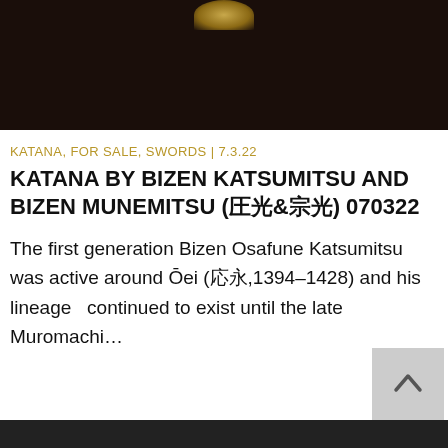[Figure (photo): Dark background image of a Japanese sword (katana), partially visible at top of page]
KATANA, FOR SALE, SWORDS | 7.3.22
KATANA BY BIZEN KATSUMITSU AND BIZEN MUNEMITSU (勝光&宗光) 070322
The first generation Bizen Osafune Katsumitsu was active around Ōei (応永,1394–1428) and his lineage　continued to exist until the late Muromachi…